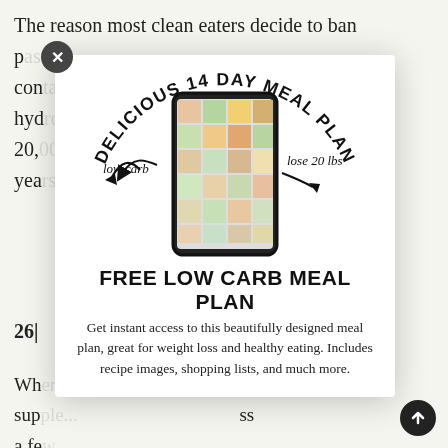The reason most clean eaters decide to ban pa... cor... hyc... 20,( n yec
26|
Wh... sup... ss a fe...
[Figure (infographic): Popup modal advertising a 'Delicious 14 Day Meal Plan' — Free Low Carb Meal Plan. Shows a smartphone mockup with a grid of food photos, curved text reading 'DELICIOUS 14 DAY MEAL PLAN' at the top, 'low carb' label with arrow on the left, 'lose 20 lbs' label with arrow on the right. Below the phone image: 'FREE LOW CARB MEAL PLAN' in bold, description text about instant access to meal plan for weight loss and healthy eating with recipe images, shopping lists, and more. Close X button top-left, scroll-up arrow button bottom-right.]
FREE LOW CARB MEAL PLAN
Get instant access to this beautifully designed meal plan, great for weight loss and healthy eating. Includes recipe images, shopping lists, and much more.